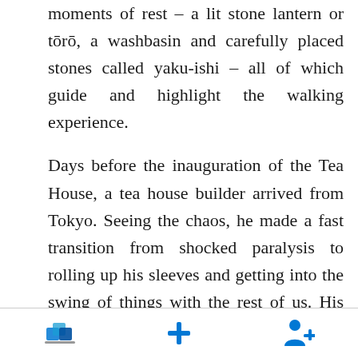moments of rest – a lit stone lantern or tōrō, a washbasin and carefully placed stones called yaku-ishi – all of which guide and highlight the walking experience.
Days before the inauguration of the Tea House, a tea house builder arrived from Tokyo. Seeing the chaos, he made a fast transition from shocked paralysis to rolling up his sleeves and getting into the swing of things with the rest of us. His beam of
[navigation icons: home, plus, person+]